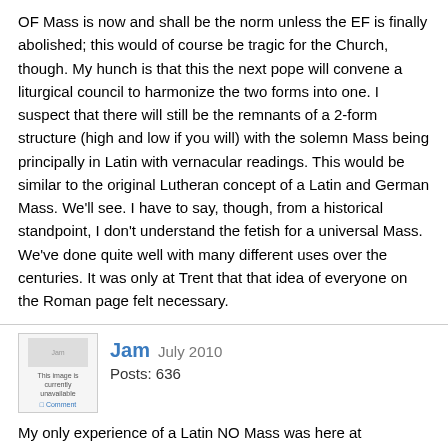OF Mass is now and shall be the norm unless the EF is finally abolished; this would of course be tragic for the Church, though. My hunch is that this the next pope will convene a liturgical council to harmonize the two forms into one. I suspect that there will still be the remnants of a 2-form structure (high and low if you will) with the solemn Mass being principally in Latin with vernacular readings. This would be similar to the original Lutheran concept of a Latin and German Mass. We'll see. I have to say, though, from a historical standpoint, I don't understand the fetish for a universal Mass. We've done quite well with many different uses over the centuries. It was only at Trent that that idea of everyone on the Roman page felt necessary.
Jam   July 2010
Posts: 636
My only experience of a Latin NO Mass was here at Franciscan. They had the same sappy sacro-pop music in English at it, no propers, and in fact everything was the exact same as their English Masses, save for the priest speaking the prayers in Latin, and the congregation responding with "et cum spiritu tuo" and "Deo gratias" (and flubbing other lines such as "habemus ad Dominum" and "dignum et iustum est"). The readings were totally in English (not both, as I see at the EF sometimes) and of course the homily as well.
Why should anyone care for the Latin Novus Ordo if it's exactly the same